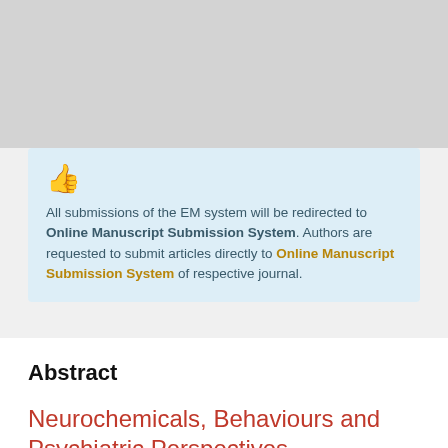All submissions of the EM system will be redirected to Online Manuscript Submission System. Authors are requested to submit articles directly to Online Manuscript Submission System of respective journal.
Abstract
Neurochemicals, Behaviours and Psychiatric Perspectives